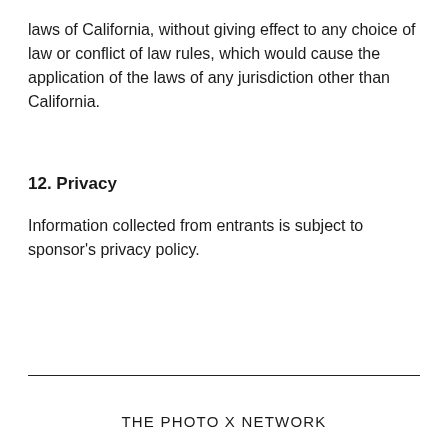laws of California, without giving effect to any choice of law or conflict of law rules, which would cause the application of the laws of any jurisdiction other than California.
12. Privacy
Information collected from entrants is subject to sponsor's privacy policy.
THE PHOTO X NETWORK